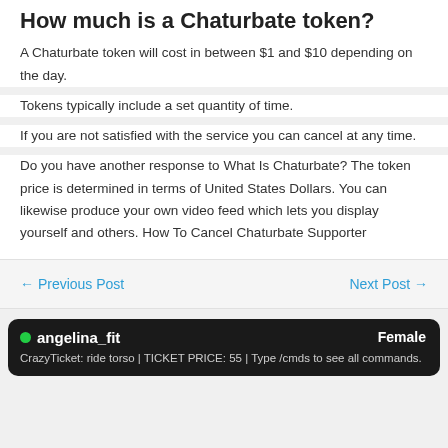How much is a Chaturbate token?
A Chaturbate token will cost in between $1 and $10 depending on the day.
Tokens typically include a set quantity of time.
If you are not satisfied with the service you can cancel at any time.
Do you have another response to What Is Chaturbate? The token price is determined in terms of United States Dollars. You can likewise produce your own video feed which lets you display yourself and others. How To Cancel Chaturbate Supporter
← Previous Post    Next Post →
● angelina_fit    Female
CrazyTicket: ride torso | TICKET PRICE: 55 | Type /cmds to see all commands.